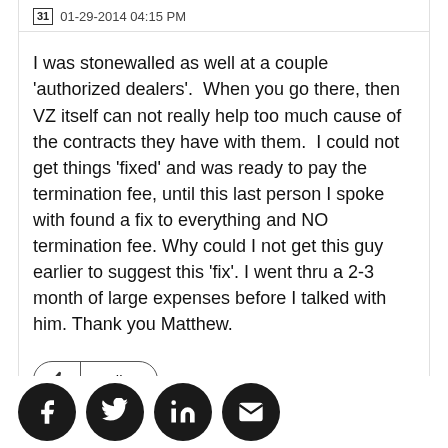31  01-29-2014 04:15 PM
I was stonewalled as well at a couple 'authorized dealers'.  When you go there, then VZ itself can not really help too much cause of the contracts they have with them.  I could not get things 'fixed' and was ready to pay the termination fee, until this last person I spoke with found a fix to everything and NO termination fee. Why could I not get this guy earlier to suggest this 'fix'. I went thru a 2-3 month of large expenses before I talked with him. Thank you Matthew.
0 Likes
[Figure (infographic): Social share icons row: Facebook, Twitter, LinkedIn, Email — white icons on dark circular backgrounds]